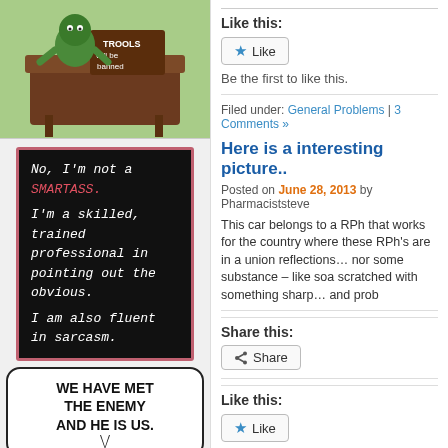[Figure (illustration): Partial cartoon image at top of left column showing a green character at a brown desk with 'TROOLS will be banned' sign, on a green background]
[Figure (illustration): Black card with pink border showing italic text: 'No, I'm not a SMARTASS. I'm a skilled, trained professional in pointing out the obvious. I am also fluent in sarcasm.' with SMARTASS in red/pink.]
[Figure (illustration): Comic strip panel showing a speech bubble saying 'WE HAVE MET THE ENEMY AND HE IS US.' with a cartoon boy figure below]
Like this:
[Figure (screenshot): Like button with blue star icon]
Be the first to like this.
Filed under: General Problems | 3 Comments »
Here is a interesting picture..
Posted on June 28, 2013 by Pharmaciststeve
This car belongs to a RPh that works for the country where these RPh's are in a union reflections… nor some substance – like soa scratched with something sharp… and prob
Share this:
[Figure (screenshot): Share button with share icon]
Like this:
[Figure (screenshot): Like button with blue star icon]